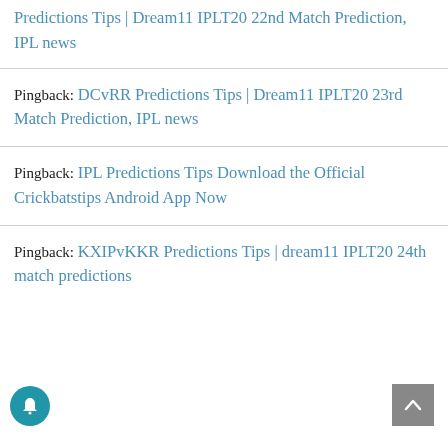Predictions Tips | Dream11 IPLT20 22nd Match Prediction, IPL news
Pingback: DCvRR Predictions Tips | Dream11 IPLT20 23rd Match Prediction, IPL news
Pingback: IPL Predictions Tips Download the Official Crickbatstips Android App Now
Pingback: KXIPvKKR Predictions Tips | dream11 IPLT20 24th match predictions